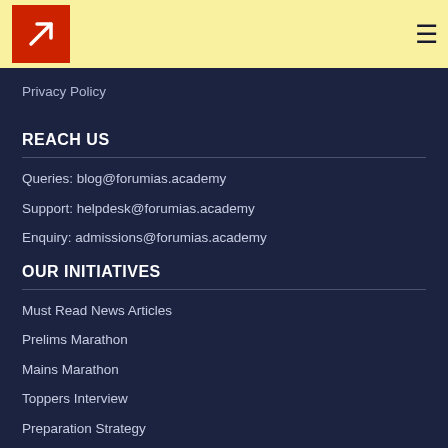Forum IAS Academy - logo and navigation
Privacy Policy
REACH US
Queries: blog@forumias.academy
Support: helpdesk@forumias.academy
Enquiry: admissions@forumias.academy
OUR INITIATIVES
Must Read News Articles
Prelims Marathon
Mains Marathon
Toppers Interview
Preparation Strategy